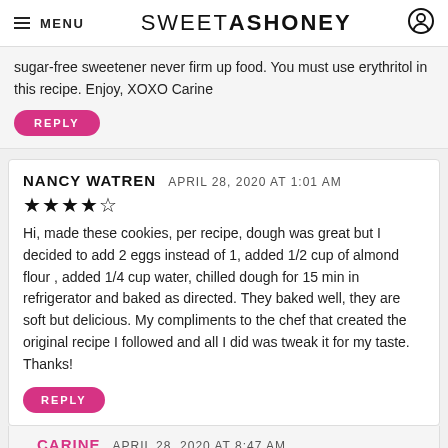MENU | SWEETASHONEY
sugar-free sweetener never firm up food. You must use erythritol in this recipe. Enjoy, XOXO Carine
REPLY
NANCY WATREN
APRIL 28, 2020 AT 1:01 AM
★★★★☆
Hi, made these cookies, per recipe, dough was great but I decided to add 2 eggs instead of 1, added 1/2 cup of almond flour , added 1/4 cup water, chilled dough for 15 min in refrigerator and baked as directed. They baked well, they are soft but delicious. My compliments to the chef that created the original recipe I followed and all I did was tweak it for my taste. Thanks!
REPLY
CARINE
APRIL 28, 2020 AT 8:47 AM
I am so happy you love the recipe ! The original